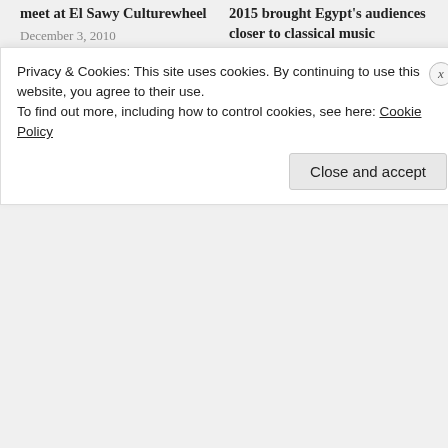meet at El Sawy Culturewheel
December 3, 2010
In "Ahram Online"
2015 brought Egypt's audiences closer to classical music
January 9, 2016
In "."
Cairo Opera House: 25 years of Egypt's cultural history
October 3, 2013
In "Ahram Online"
« Previous / Next »
Privacy & Cookies: This site uses cookies. By continuing to use this website, you agree to their use.
To find out more, including how to control cookies, see here: Cookie Policy